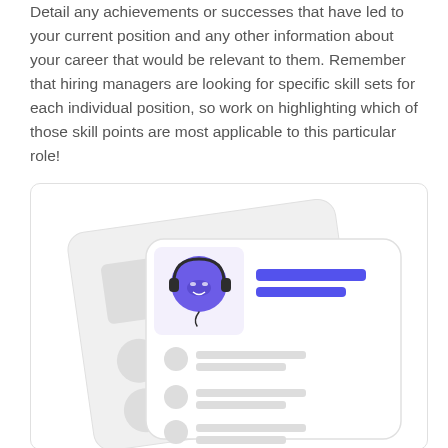Detail any achievements or successes that have led to your current position and any other information about your career that would be relevant to them. Remember that hiring managers are looking for specific skill sets for each individual position, so work on highlighting which of those skill points are most applicable to this particular role!
[Figure (illustration): Illustration showing two overlapping resume/profile cards. The back card is a lighter rounded rectangle with placeholder shapes. The front card is white with rounded corners, containing a purple cartoon character wearing headphones in the top-left area, two blue horizontal bars representing a name/title, and three rows each with a grey circle and grey lines representing content sections.]